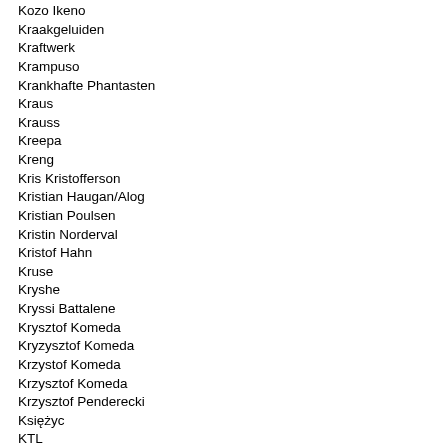Kozo Ikeno
Kraakgeluiden
Kraftwerk
Krampuso
Krankhafte Phantasten
Kraus
Krauss
Kreepa
Kreng
Kris Kristofferson
Kristian Haugan/Alog
Kristian Poulsen
Kristin Norderval
Kristof Hahn
Kruse
Kryshe
Kryssi Battalene
Krysztof Komeda
Kryzysztof Komeda
Krzystof Komeda
Krzysztof Komeda
Krzysztof Penderecki
Księżyc
KTL
Kulture Shock
Kumo
Kuni Kawachi & Friends
Kunihiko Murai
Kuriyama Jun
Kurt Schwitters
Kurt Stenzel
Kuupuu
Kuwayama-Kijima
Kweli ould seyyid...
Kyle Eyre Clyd
Kymatik
Kymatik : Midwich Cuckoos